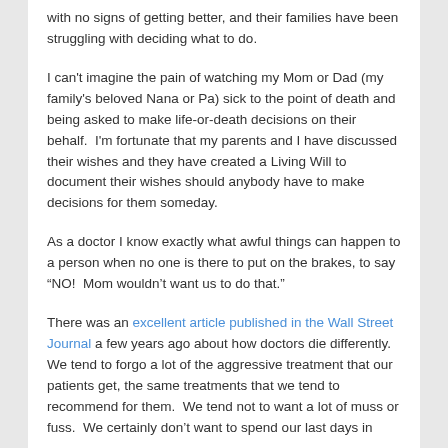with no signs of getting better, and their families have been struggling with deciding what to do.
I can't imagine the pain of watching my Mom or Dad (my family's beloved Nana or Pa) sick to the point of death and being asked to make life-or-death decisions on their behalf.  I'm fortunate that my parents and I have discussed their wishes and they have created a Living Will to document their wishes should anybody have to make decisions for them someday.
As a doctor I know exactly what awful things can happen to a person when no one is there to put on the brakes, to say “NO!  Mom wouldn’t want us to do that.”
There was an excellent article published in the Wall Street Journal a few years ago about how doctors die differently.  We tend to forgo a lot of the aggressive treatment that our patients get, the same treatments that we tend to recommend for them.  We tend not to want a lot of muss or fuss.  We certainly don’t want to spend our last days in